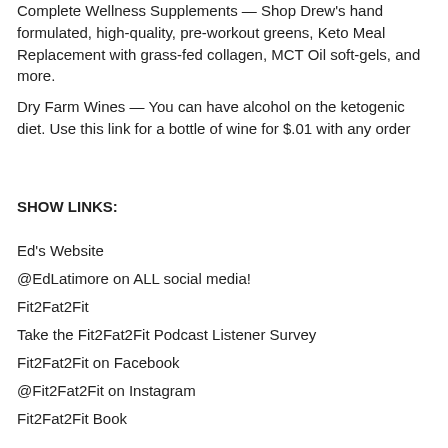Complete Wellness Supplements — Shop Drew's hand formulated, high-quality, pre-workout greens, Keto Meal Replacement with grass-fed collagen, MCT Oil soft-gels, and more.
Dry Farm Wines — You can have alcohol on the ketogenic diet. Use this link for a bottle of wine for $.01 with any order
SHOW LINKS:
Ed's Website
@EdLatimore on ALL social media!
Fit2Fat2Fit
Take the Fit2Fat2Fit Podcast Listener Survey
Fit2Fat2Fit on Facebook
@Fit2Fat2Fit on Instagram
Fit2Fat2Fit Book